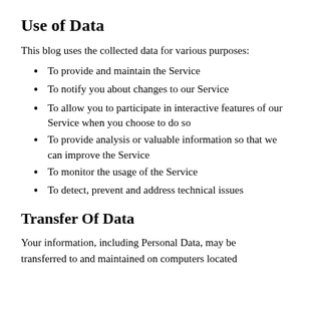Use of Data
This blog uses the collected data for various purposes:
To provide and maintain the Service
To notify you about changes to our Service
To allow you to participate in interactive features of our Service when you choose to do so
To provide analysis or valuable information so that we can improve the Service
To monitor the usage of the Service
To detect, prevent and address technical issues
Transfer Of Data
Your information, including Personal Data, may be transferred to and maintained on computers located